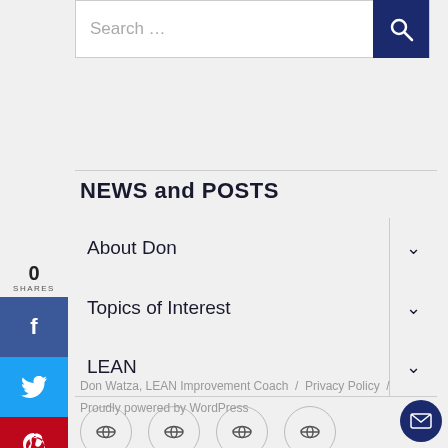[Figure (screenshot): Search bar with text 'Search ...' and a dark navy search button with magnifying glass icon]
NEWS and POSTS
0
SHARES
About Don
Topics of Interest
LEAN
[Figure (illustration): Row of four circular social media icon buttons]
Don Watza, LEAN Improvement Coach  /  Privacy Policy  /
Proudly powered by WordPress